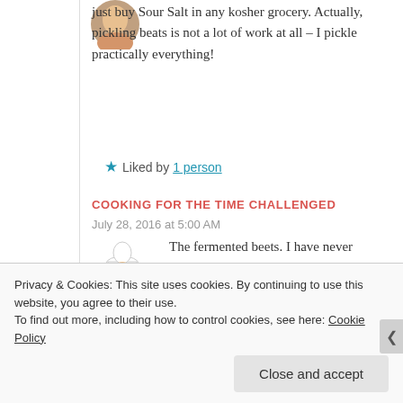just buy Sour Salt in any kosher grocery. Actually, pickling beats is not a lot of work at all – I pickle practically everything!
Liked by 1 person
COOKING FOR THE TIME CHALLENGED
July 28, 2016 at 5:00 AM
[Figure (illustration): Chef avatar illustration with cooking bowl]
The fermented beets. I have never pickled or canned anything. I would like to but my family liked
Privacy & Cookies: This site uses cookies. By continuing to use this website, you agree to their use. To find out more, including how to control cookies, see here: Cookie Policy
Close and accept